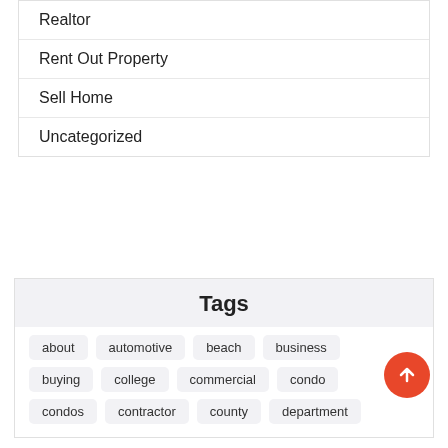Realtor
Rent Out Property
Sell Home
Uncategorized
Tags
about
automotive
beach
business
buying
college
commercial
condo
condos
contractor
county
department